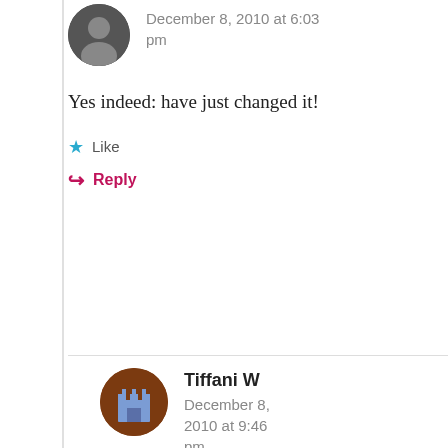[Figure (photo): Circular avatar photo of a person, dark/black and white tones, top of page]
December 8, 2010 at 6:03 pm
Yes indeed: have just changed it!
Like
Reply
[Figure (illustration): Circular avatar with brown background showing a stylized building/castle icon in blue/purple]
Tiffani W
December 8, 2010 at 9:46 pm